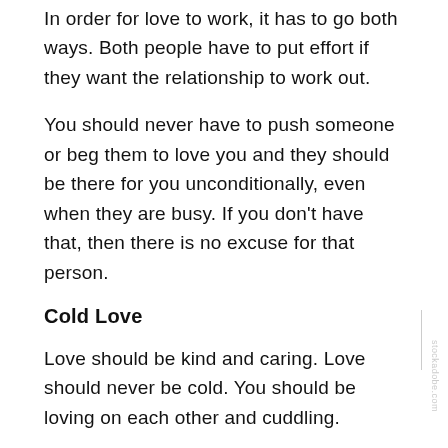In order for love to work, it has to go both ways. Both people have to put effort if they want the relationship to work out.
You should never have to push someone or beg them to love you and they should be there for you unconditionally, even when they are busy. If you don't have that, then there is no excuse for that person.
Cold Love
Love should be kind and caring. Love should never be cold. You should be loving on each other and cuddling.